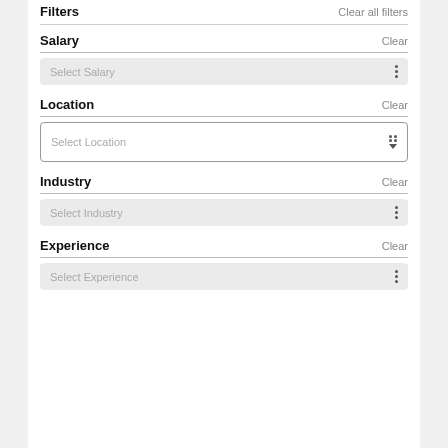Filters    Clear all filters
Salary    Clear
Select Salary
Location    Clear
Select Location
Industry    Clear
Select Industry
Experience    Clear
Select Experience